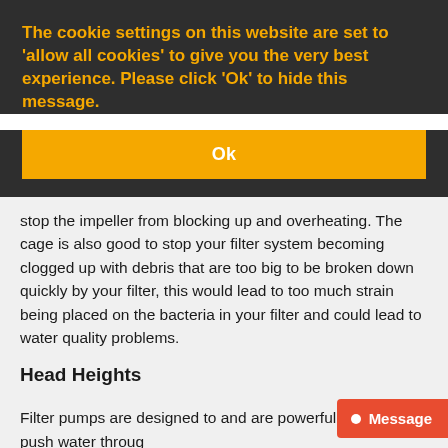The cookie settings on this website are set to 'allow all cookies' to give you the very best experience. Please click 'Ok' to hide this message.
Ok
stop the impeller from blocking up and overheating. The cage is also good to stop your filter system becoming clogged up with debris that are too big to be broken down quickly by your filter, this would lead to too much strain being placed on the bacteria in your filter and could lead to water quality problems.
Head Heights
Filter pumps are designed to and are powerful enough to push water through your filter, they also need to be able t
Message